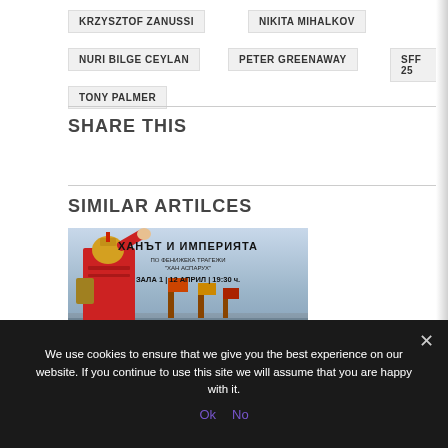KRZYSZTOF ZANUSSI
NIKITA MIHALKOV
NURI BILGE CEYLAN
PETER GREENAWAY
SFF 25
TONY PALMER
SHARE THIS
SIMILAR ARTILCES
[Figure (photo): Movie poster for 'Ханът и Империята' (The Khan and the Empire) showing a warrior/soldier in red armor raising his hand, with Cyrillic text overlay: 'ХАНЪТ И ИМПЕРИЯТА', subtitle text, 'ЗАЛА 1 | 12 АПРИЛ | 19:30 ч.' and Doli logo.]
We use cookies to ensure that we give you the best experience on our website. If you continue to use this site we will assume that you are happy with it.
Ok   No